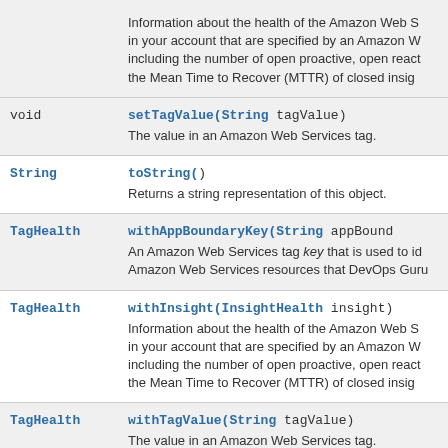| Type | Method and Description |
| --- | --- |
|  | Information about the health of the Amazon Web S... in your account that are specified by an Amazon W... including the number of open proactive, open react... the Mean Time to Recover (MTTR) of closed insig... |
| void | setTagValue(String tagValue)
The value in an Amazon Web Services tag. |
| String | toString()
Returns a string representation of this object. |
| TagHealth | withAppBoundaryKey(String appBound...
An Amazon Web Services tag key that is used to id... Amazon Web Services resources that DevOps Guru... |
| TagHealth | withInsight(InsightHealth insight)
Information about the health of the Amazon Web S... in your account that are specified by an Amazon W... including the number of open proactive, open react... the Mean Time to Recover (MTTR) of closed insig... |
| TagHealth | withTagValue(String tagValue)
The value in an Amazon Web Services tag. |